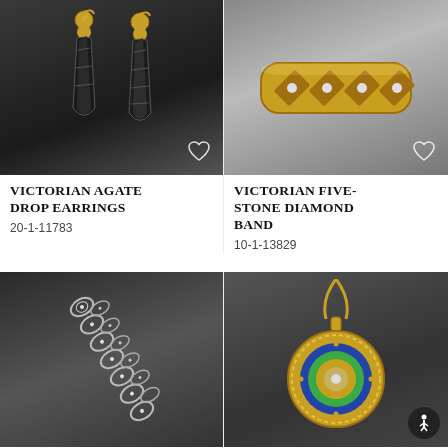[Figure (photo): Victorian agate drop earrings on dark background, two elongated black teardrop/bullet shaped earrings with gold fittings, heart/favorite icon overlay]
[Figure (photo): Victorian five-stone diamond band ring on grey background, gold band with diamond pattern, heart/favorite icon overlay]
VICTORIAN AGATE DROP EARRINGS
20-1-11783
VICTORIAN FIVE-STONE DIAMOND BAND
10-1-13829
[Figure (photo): Antique diamond bracelet on dark background, delicate linked floral/foliate design with diamonds]
[Figure (photo): Victorian enamel locket pendant on chain, circular gold locket with blue and green enamel floral decoration, shown on dark background; accessibility button visible bottom right]